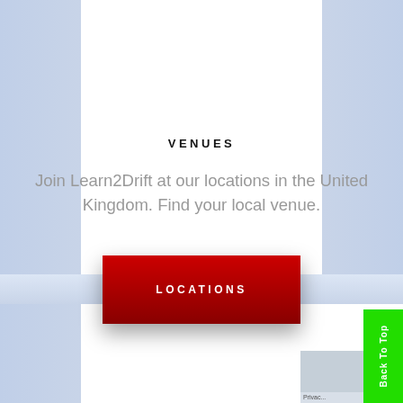VENUES
Join Learn2Drift at our locations in the United Kingdom. Find your local venue.
[Figure (other): Red button with text LOCATIONS]
[Figure (screenshot): Back To Top green vertical button on right side; partial Google Maps snippet at bottom right]